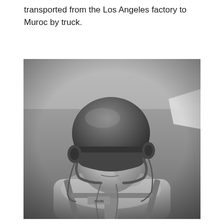transported from the Los Angeles factory to Muroc by truck.
[Figure (photo): Black and white photograph of a male pilot wearing a flight helmet with chin strap and headset/earphones, dressed in a flight suit with a parachute harness (labeled IRVIN visible on the harness). The pilot is looking upward and to the right. Part of an aircraft tail or fin is visible in the background on the right side. The sky is visible behind him.]